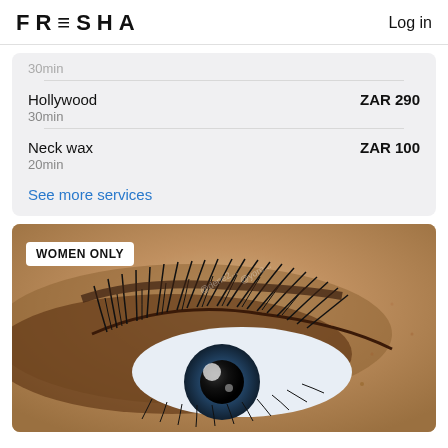FRESHA  Log in
30min
Hollywood  ZAR 290
30min
Neck wax  ZAR 100
20min
See more services
[Figure (photo): Close-up photograph of a woman's eye with long eyelash extensions, showing skin texture and a dark iris. A 'WOMEN ONLY' badge overlays the top-left corner of the image.]